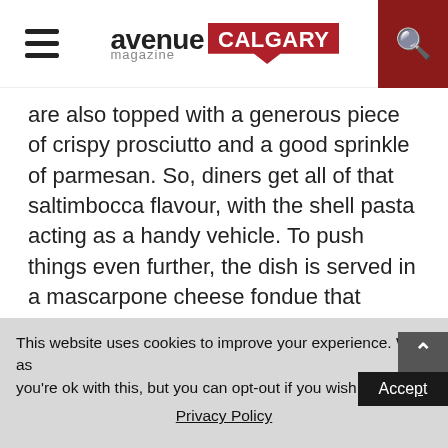avenue magazine CALGARY
are also topped with a generous piece of crispy prosciutto and a good sprinkle of parmesan. So, diners get all of that saltimbocca flavour, with the shell pasta acting as a handy vehicle. To push things even further, the dish is served in a mascarpone cheese fondue that caramelizes as the stuffed pasta crisps up a bit in the oven before serving.
To a home cook, this all may sound complicated, but Teatro Group’s corporate executive chef Matthew Batey says it’s actually relatively simple from the perspective of a fine dining restaurant.
This website uses cookies to improve your experience. We’ll as you’re ok with this, but you can opt-out if you wish. Accept Privacy Policy